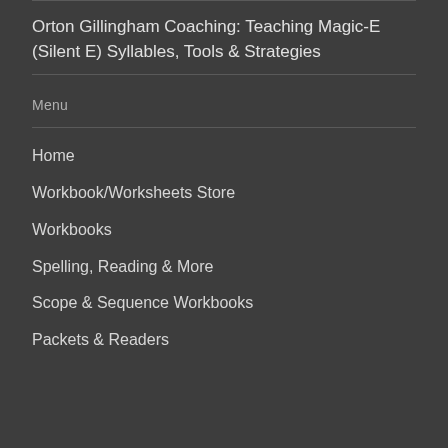Orton Gillingham Coaching: Teaching Magic-E (Silent E) Syllables, Tools & Strategies
Menu
Home
Workbook/Worksheets Store
Workbooks
Spelling, Reading & More
Scope & Sequence Workbooks
Packets & Readers